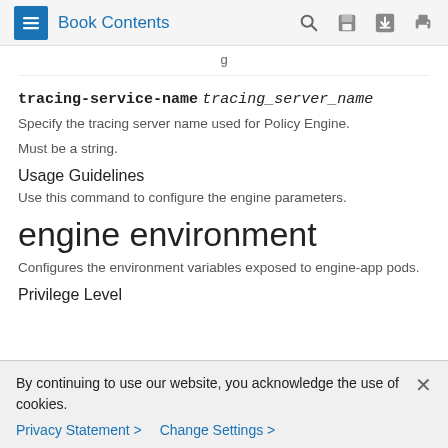Book Contents
tracing-service-name tracing_server_name
Specify the tracing server name used for Policy Engine.
Must be a string.
Usage Guidelines
Use this command to configure the engine parameters.
engine environment
Configures the environment variables exposed to engine-app pods.
Privilege Level
By continuing to use our website, you acknowledge the use of cookies.
Privacy Statement > Change Settings >